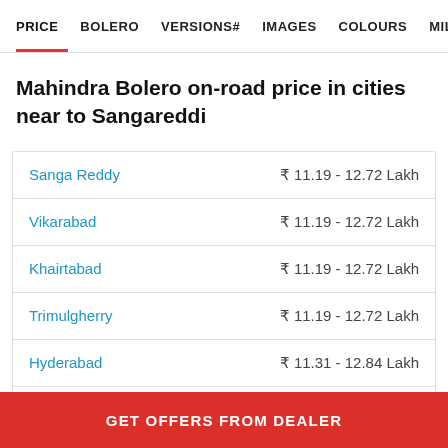PRICE  BOLERO  VERSIONS#  IMAGES  COLOURS  MILEAGE
Mahindra Bolero on-road price in cities near to Sangareddi
| City | Price |
| --- | --- |
| Sanga Reddy | ₹ 11.19 - 12.72 Lakh |
| Vikarabad | ₹ 11.19 - 12.72 Lakh |
| Khairtabad | ₹ 11.19 - 12.72 Lakh |
| Trimulgherry | ₹ 11.19 - 12.72 Lakh |
| Hyderabad | ₹ 11.31 - 12.84 Lakh |
| Ranga Reddy | ₹ 11.19 - 12.72 Lakh |
GET OFFERS FROM DEALER